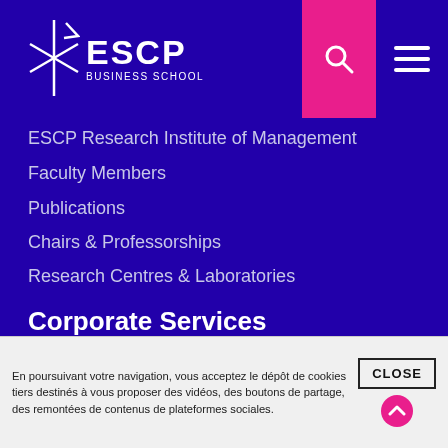[Figure (logo): ESCP Business School logo with star/arrow icon and white text on purple background]
ESCP Research Institute of Management
Faculty Members
Publications
Chairs & Professorships
Research Centres & Laboratories
Corporate Services
Find your future Managers
Corporate Partnerships
Corporate Events
Custom programmes for Companies
En poursuivant votre navigation, vous acceptez le dépôt de cookies tiers destinés à vous proposer des vidéos, des boutons de partage, des remontées de contenus de plateformes sociales.